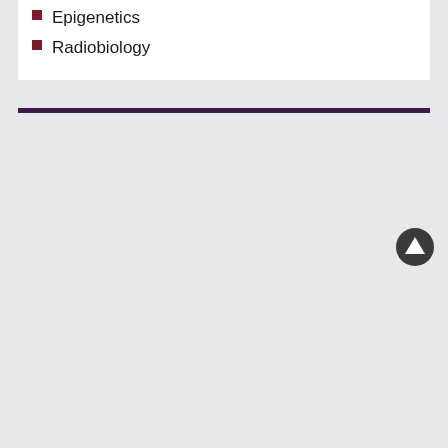Epigenetics
Radiobiology
[Figure (illustration): A dark circular up-arrow navigation button in the lower right area of the page]